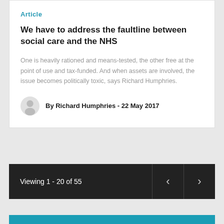Article
We have to address the faultline between social care and the NHS
One is heavily rationed and means-tested, the other free at the point of use and tax-funded. And when assets are involved, the issue becomes politically toxic, says Richard Humphries.
By Richard Humphries - 22 May 2017
Viewing 1 - 20 of 55